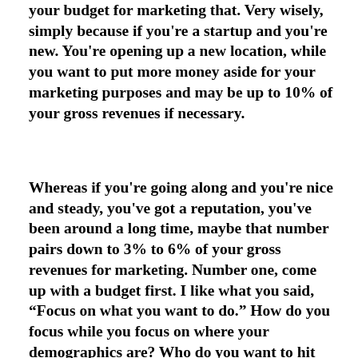your budget for marketing that. Very wisely, simply because if you're a startup and you're new. You're opening up a new location, while you want to put more money aside for your marketing purposes and may be up to 10% of your gross revenues if necessary.
Whereas if you're going along and you're nice and steady, you've got a reputation, you've been around a long time, maybe that number pairs down to 3% to 6% of your gross revenues for marketing. Number one, come up with a budget first. I like what you said, “Focus on what you want to do.” How do you focus while you focus on where your demographics are? Who do you want to hit establishing your brand identity? Who’s your typical patient, the ideal patient? Focus on those platforms with that predetermined budget.